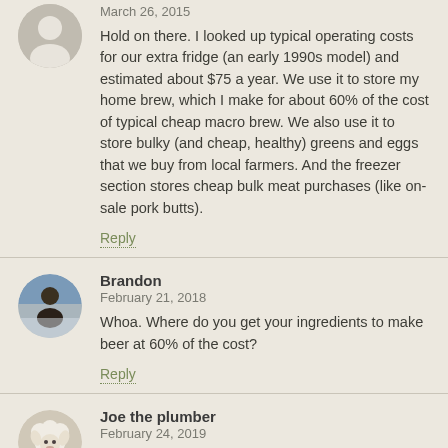[Figure (illustration): Grey placeholder avatar icon for anonymous user]
March 26, 2015
Hold on there. I looked up typical operating costs for our extra fridge (an early 1990s model) and estimated about $75 a year. We use it to store my home brew, which I make for about 60% of the cost of typical cheap macro brew. We also use it to store bulky (and cheap, healthy) greens and eggs that we buy from local farmers. And the freezer section stores cheap bulk meat purchases (like on-sale pork butts).
Reply
[Figure (photo): Round avatar photo of Brandon, person on snowy/icy background]
Brandon
February 21, 2018
Whoa. Where do you get your ingredients to make beer at 60% of the cost?
Reply
[Figure (illustration): Round avatar illustration of Joe the plumber, cartoon sheep/animal character]
Joe the plumber
February 24, 2019